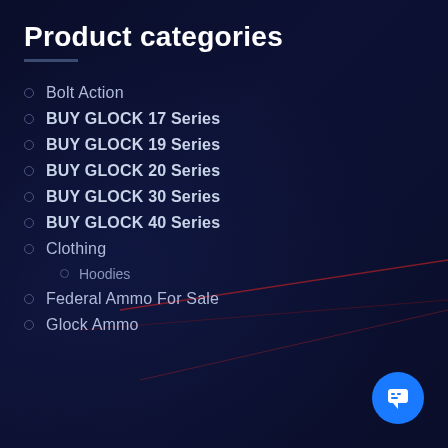Product categories
Bolt Action
BUY GLOCK 17 Series
BUY GLOCK 19 Series
BUY GLOCK 20 Series
BUY GLOCK 30 Series
BUY GLOCK 40 Series
Clothing
Hoodies
Federal Ammo For Sale
Glock Ammo